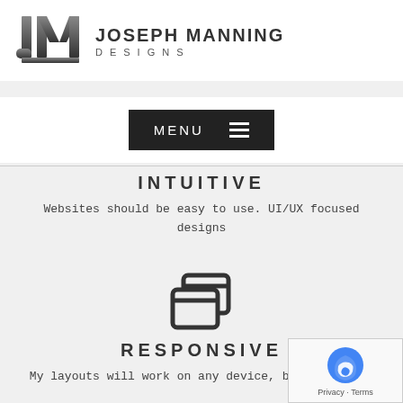[Figure (logo): JM monogram logo in dark gray with stylized J and M letterforms]
JOSEPH MANNING DESIGNS
[Figure (other): Dark rectangular MENU button with hamburger icon lines]
INTUITIVE
Websites should be easy to use. UI/UX focused designs
[Figure (illustration): Icon of two overlapping browser windows/screens, dark outline style]
RESPONSIVE
My layouts will work on any device, big or small.